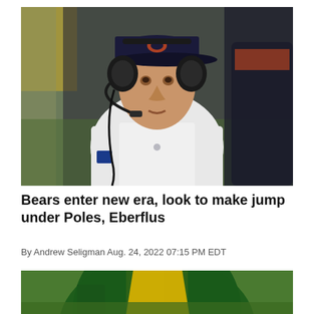[Figure (photo): NFL coach wearing a white polo shirt and Chicago Bears cap with headset on sideline, looking upward, with blurred players in background]
Bears enter new era, look to make jump under Poles, Eberflus
By Andrew Seligman Aug. 24, 2022 07:15 PM EDT
[Figure (photo): Partial view of a Green Bay Packers helmet (green with yellow stripe) on a game field]